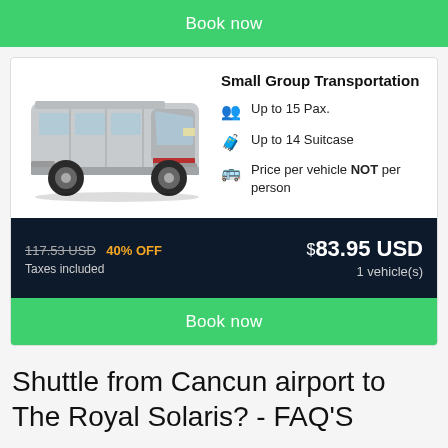Book now
Small Group Transportation
Up to 15 Pax.
Up to 14 Suitcase
Price per vehicle NOT per person
[Figure (photo): Silver minivan / shuttle van facing right]
117.53 USD  40% OFF  Taxes included  $83.95 USD  1 vehicle(s)
Book now
Shuttle from Cancun airport to The Royal Solaris? - FAQ'S